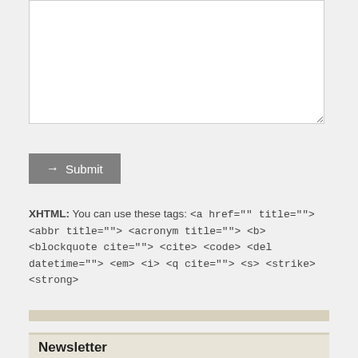[Figure (screenshot): A large empty textarea input field with resize handle]
[Figure (screenshot): A grey Submit button with an arrow icon]
XHTML: You can use these tags: <a href="" title=""> <abbr title=""> <acronym title=""> <b> <blockquote cite=""> <cite> <code> <del datetime=""> <em> <i> <q cite=""> <s> <strike> <strong>
Newsletter